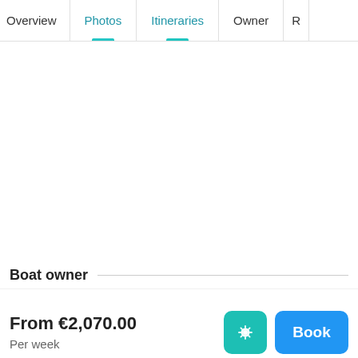Overview | Photos | Itineraries | Owner | R...
Boat owner
From €2,070.00
Per week